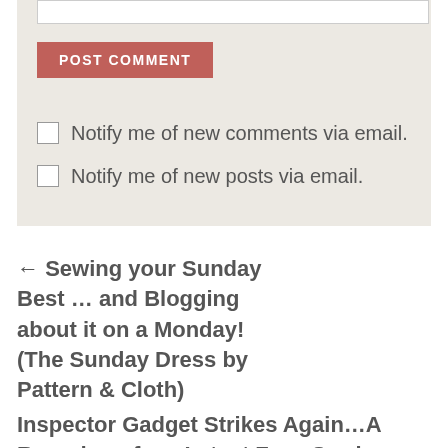POST COMMENT
Notify me of new comments via email.
Notify me of new posts via email.
← Sewing your Sunday Best … and Blogging about it on a Monday! (The Sunday Dress by Pattern & Cloth)
Inspector Gadget Strikes Again…A Roundup of my Latest Fave Sewing Tools, Gadgets & Gizmos! →